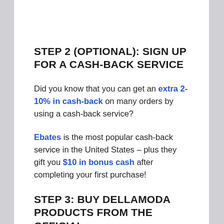STEP 2 (OPTIONAL): SIGN UP FOR A CASH-BACK SERVICE
Did you know that you can get an extra 2-10% in cash-back on many orders by using a cash-back service?
Ebates is the most popular cash-back service in the United States – plus they gift you $10 in bonus cash after completing your first purchase!
STEP 3: BUY DELLAMODA PRODUCTS FROM THE OFFICIAL